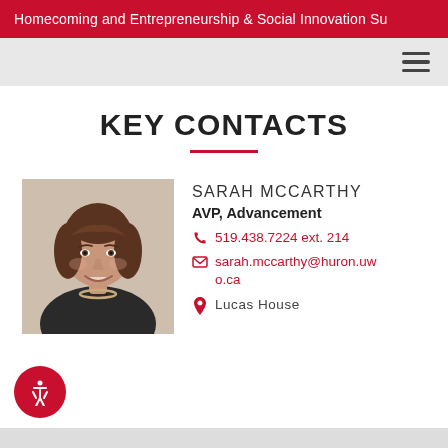Homecoming and Entrepreneurship & Social Innovation Su
KEY CONTACTS
[Figure (photo): Portrait photo of Sarah McCarthy, a woman with shoulder-length brown hair wearing a dark top and necklace, smiling.]
SARAH MCCARTHY
AVP, Advancement
519.438.7224 ext. 214
sarah.mccarthy@huron.uwo.ca
Lucas House